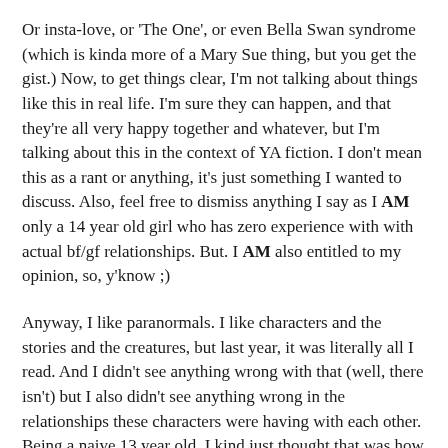Or insta-love, or 'The One', or even Bella Swan syndrome (which is kinda more of a Mary Sue thing, but you get the gist.) Now, to get things clear, I'm not talking about things like this in real life. I'm sure they can happen, and that they're all very happy together and whatever, but I'm talking about this in the context of YA fiction. I don't mean this as a rant or anything, it's just something I wanted to discuss. Also, feel free to dismiss anything I say as I AM only a 14 year old girl who has zero experience with with actual bf/gf relationships. But. I AM also entitled to my opinion, so, y'know ;)
Anyway, I like paranormals. I like characters and the stories and the creatures, but last year, it was literally all I read. And I didn't see anything wrong with that (well, there isn't) but I also didn't see anything wrong in the relationships these characters were having with each other. Being a naive 13 year old, I kind just thought that was how it worked sometimes. And then I started to read contemporaries (which before blogging I wouldn't have touched with a bargepole because they were too 'girly'. You can laugh.) Reading these contemps, I was kind of surprised. I mean, get this. The girls, well, they weren't perfect, and they weren't Mary Sues. And the boys? Well, neither were they, and they weren't trying to